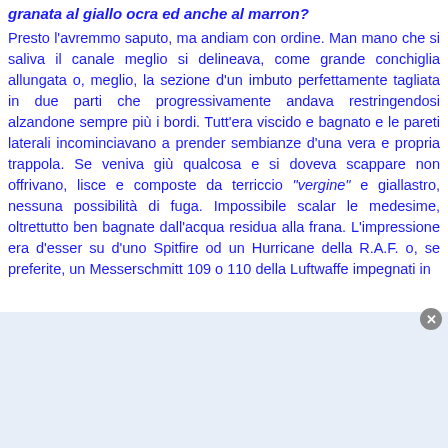granata al giallo ocra ed anche al marron?
Presto l'avremmo saputo, ma andiam con ordine. Man mano che si saliva il canale meglio si delineava, come grande conchiglia allungata o, meglio, la sezione d'un imbuto perfettamente tagliata in due parti che progressivamente andava restringendosi alzandone sempre più i bordi. Tutt'era viscido e bagnato e le pareti laterali incominciavano a prender sembianze d'una vera e propria trappola. Se veniva giù qualcosa e si doveva scappare non offrivano, lisce e composte da terriccio "vergine" e giallastro, nessuna possibilità di fuga. Impossibile scalar le medesime, oltrettutto ben bagnate dall'acqua residua alla frana. L'impressione era d'esser su d'uno Spitfire od un Hurricane della R.A.F. o, se preferite, un Messerschmitt 109 o 110 della Luftwaffe impegnati in